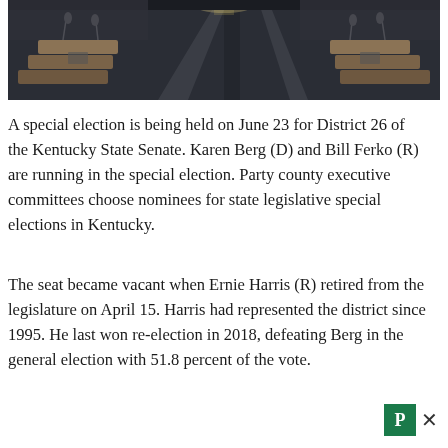[Figure (photo): Interior view of a legislative chamber showing desks with microphones arranged symmetrically, viewed from the center aisle looking toward the front.]
A special election is being held on June 23 for District 26 of the Kentucky State Senate. Karen Berg (D) and Bill Ferko (R) are running in the special election. Party county executive committees choose nominees for state legislative special elections in Kentucky.
The seat became vacant when Ernie Harris (R) retired from the legislature on April 15. Harris had represented the district since 1995. He last won re-election in 2018, defeating Berg in the general election with 51.8 percent of the vote.